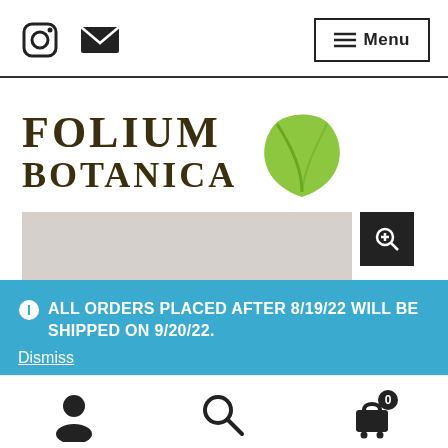[Figure (logo): Instagram icon and email/envelope icon in top left navigation bar]
[Figure (logo): Menu button with hamburger lines and text 'Menu' in top right]
[Figure (logo): Folium Botanica logo with leaf icon — text reads FOLIUM BOTANICA with a green leaf graphic]
[Figure (screenshot): Gray product image placeholder with dark zoom/magnify button]
ALL ORDERS PLACED AFTER 8/19/22 WILL BE SHIPPED ON 9/20/22.
Dismiss
[Figure (infographic): Bottom navigation bar with user/account icon, search icon, and cart icon with badge showing 0]